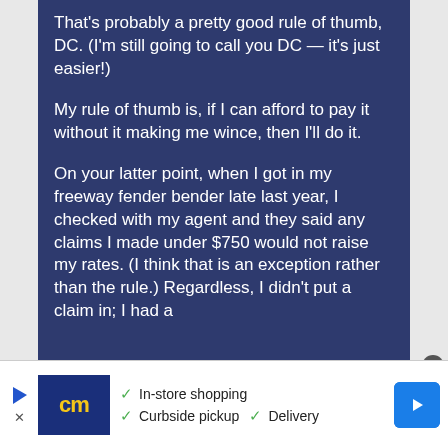That's probably a pretty good rule of thumb, DC. (I'm still going to call you DC — it's just easier!)

My rule of thumb is, if I can afford to pay it without it making me wince, then I'll do it.

On your latter point, when I got in my freeway fender bender late last year, I checked with my agent and they said any claims I made under $750 would not raise my rates. (I think that is an exception rather than the rule.) Regardless, I didn't put a claim in; I had a
[Figure (screenshot): Advertisement bar with cm logo, checkmarks for In-store shopping, Curbside pickup, Delivery, and a navigation icon]